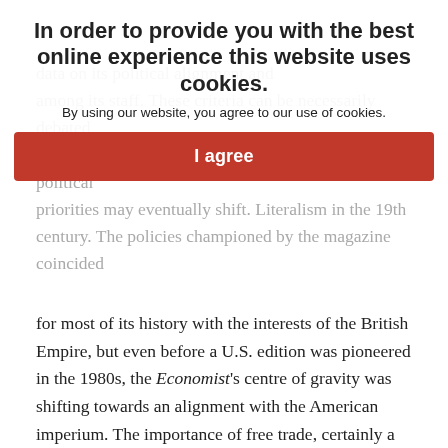[Figure (other): Cookie consent overlay with bold title text, subtitle, and red 'I agree' button on top of greyed-out article text]
for most of its history with the interests of the British Empire, but even before a U.S. edition was pioneered in the 1980s, the Economist's centre of gravity was shifting towards an alignment with the American imperium. The importance of free trade, certainly a persistent element of most liberalisms, has usually been central to the ethos of the Economist, however, the impact of the Great Depression of the 1930s changed that for a time. Its return to the mantras of free trade accompanied the crisis of post-war Western capitalism in the 1970s.
Origins of liberalism
Zevinoutlines how liberalism 'as a collective political term' emerged in the wake of the defeat of Napoleon's Empire in